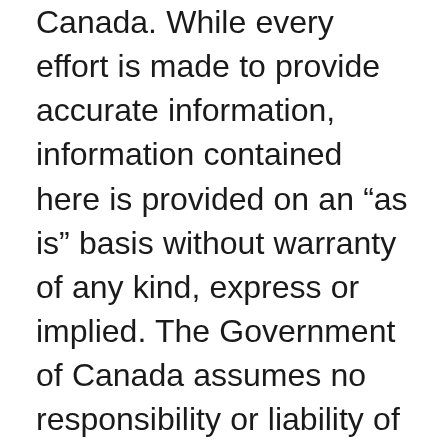Canada. While every effort is made to provide accurate information, information contained here is provided on an “as is” basis without warranty of any kind, express or implied. The Government of Canada assumes no responsibility or liability of any kind and shall not be liable for any damages in connection to the information provided. This publication is not intended to provide legal or other advice and should not be relied upon in that regard. The reader is encouraged to retain a lawyer, if arrested or detained, and to supplement